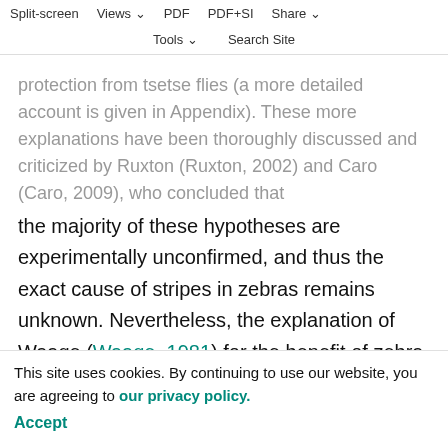Split-screen  Views  PDF  PDF+SI  Share  Tools  Search Site
protection from tsetse flies (a more detailed account is given in Appendix). These more explanations have been thoroughly discussed and criticized by Ruxton (Ruxton, 2002) and Caro (Caro, 2009), who concluded that the majority of these hypotheses are experimentally unconfirmed, and thus the exact cause of stripes in zebras remains unknown. Nevertheless, the explanation of Waage (Waage, 1981) for the benefit of zebra stripes (i.e. protection from tsetse flies) has been the only hypothesis to be partially supported experimentally (Turner and Invest, 1973; Brady and Shereni, 1988; Gibson, 1992; Ruxton, 2002; Lehane, 2005; Caro, 2009).
Horseflies, or tabanids (Tabanidae), are vectors of several dangerous pathogens (ref. 1983; Hall et al., 1998) and, if irritated by them, horses and cattle cannot graze, the consequence of which is the reduction of their body mass
This site uses cookies. By continuing to use our website, you are agreeing to our privacy policy. Accept